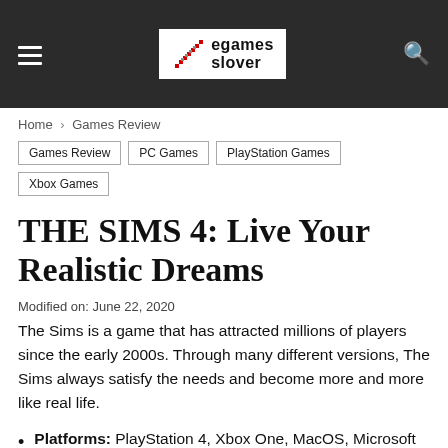games lover — navigation header with hamburger menu, logo, and search icon
Home › Games Review
Games Review | PC Games | PlayStation Games | Xbox Games
THE SIMS 4: Live Your Realistic Dreams
Modified on: June 22, 2020
The Sims is a game that has attracted millions of players since the early 2000s. Through many different versions, The Sims always satisfy the needs and become more and more like real life.
Platforms: PlayStation 4, Xbox One, MacOS, Microsoft Windows